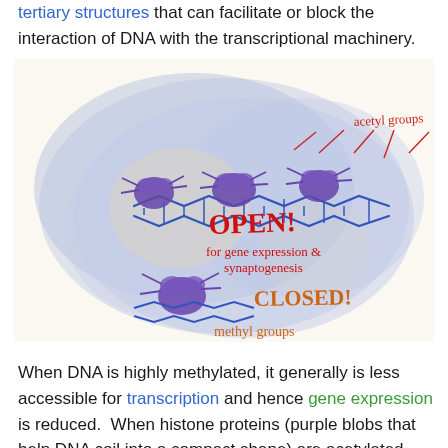tertiary structures that can facilitate or block the interaction of DNA with the transcriptional machinery.
[Figure (illustration): Hand-drawn illustration on a cream/light background showing two states of chromatin. Top portion shows histone proteins (purple blobs) with DNA (blue chain) in an open configuration, with red handwritten text reading 'acetyl groups', 'OPEN!', 'for gene expression & synaptogenesis'. Bottom portion shows a histone protein (purple blob) with a short DNA segment in a closed configuration, orange/red handwritten text reading 'CLOSED!', 'methyl groups'. The entire illustration is set against a blue-lavender watercolor blob shape.]
When DNA is highly methylated, it generally is less accessible for transcription and hence gene expression is reduced.  When histone proteins (purple blobs that help DNA coil into a compact shape) are acetylated, the DNA is